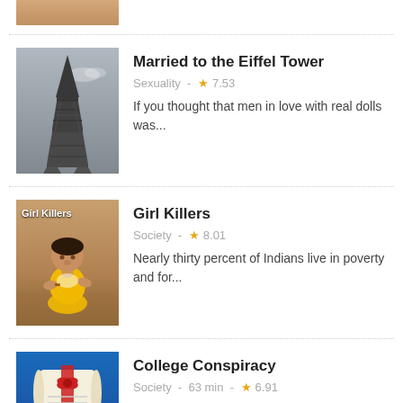[Figure (photo): Partial view of a person/people thumbnail at the top of the page (cropped)]
[Figure (photo): Book/film cover: Married to the Eiffel Tower – black and white image of Eiffel Tower with title text overlay]
Married to the Eiffel Tower
Sexuality  -  ★7.53
If you thought that men in love with real dolls was...
[Figure (photo): Girl Killers thumbnail – photo of a young Indian girl in yellow dress, with 'Girl Killers' text overlay]
Girl Killers
Society  -  ★8.01
Nearly thirty percent of Indians live in poverty and for...
[Figure (photo): College Conspiracy thumbnail – diploma scroll against blue sky background]
College Conspiracy
Society  -  63 min  -  ★6.91